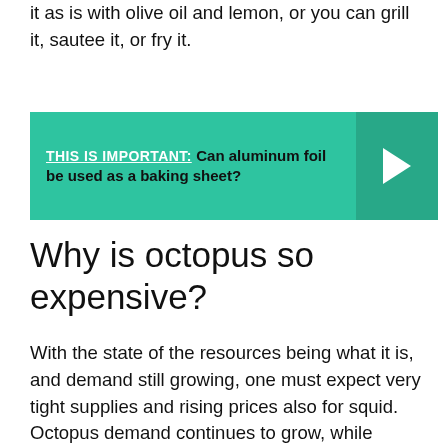it as is with olive oil and lemon, or you can grill it, sautee it, or fry it.
[Figure (infographic): Teal/green banner with label 'THIS IS IMPORTANT:' in white underlined bold, followed by bold black text 'Can aluminum foil be used as a baking sheet?' and a right-arrow chevron in a slightly darker teal panel on the right.]
Why is octopus so expensive?
With the state of the resources being what it is, and demand still growing, one must expect very tight supplies and rising prices also for squid. Octopus demand continues to grow, while supplies continue to be tight, translating into higher prices.